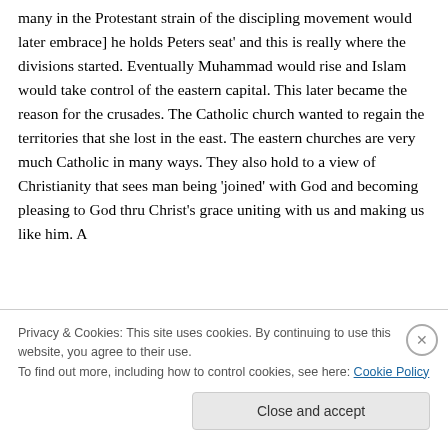many in the Protestant strain of the discipling movement would later embrace] he holds Peters seat' and this is really where the divisions started. Eventually Muhammad would rise and Islam would take control of the eastern capital. This later became the reason for the crusades. The Catholic church wanted to regain the territories that she lost in the east. The eastern churches are very much Catholic in many ways. They also hold to a view of Christianity that sees man being 'joined' with God and becoming pleasing to God thru Christ's grace uniting with us and making us like him. A
Privacy & Cookies: This site uses cookies. By continuing to use this website, you agree to their use.
To find out more, including how to control cookies, see here: Cookie Policy
Close and accept